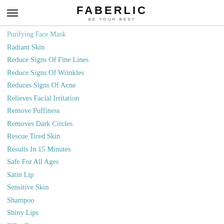FABERLIC BE YOUR BEST
Purifying Face Mask
Radiant Skin
Reduce Signs Of Fine Lines
Reduce Signs Of Wrinkles
Reduces Signs Of Acne
Relieves Facial Irritation
Remove Puffiness
Removes Dark Circles
Rescue Tired Skin
Results In 15 Minutes
Safe For All Ages
Satin Lip
Sensitive Skin
Shampoo
Shiny Lips
Silky Coverage
Silky Face
Silky Soft Lips